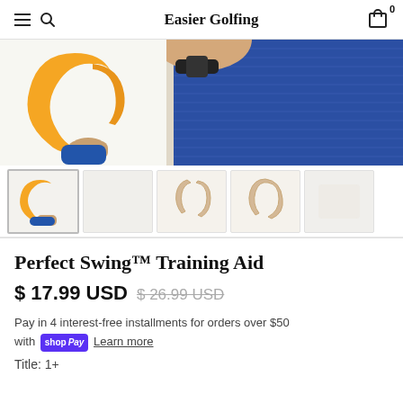Easier Golfing
[Figure (photo): Product photos of a yellow golf swing training aid device and a person wearing a blue elbow support sleeve. Below are 5 thumbnail images of the product from different angles.]
Perfect Swing™ Training Aid
$ 17.99 USD $ 26.99 USD
Pay in 4 interest-free installments for orders over $50 with shop Pay Learn more
Title: 1+